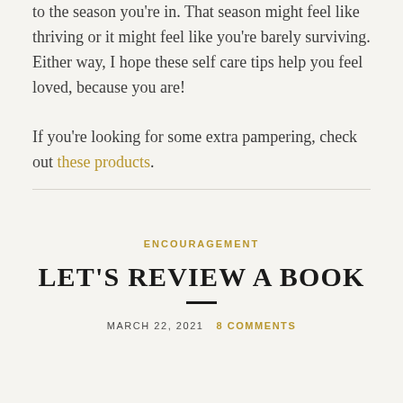to the season you're in. That season might feel like thriving or it might feel like you're barely surviving. Either way, I hope these self care tips help you feel loved, because you are!

If you're looking for some extra pampering, check out these products.
ENCOURAGEMENT
LET'S REVIEW A BOOK
MARCH 22, 2021  8 COMMENTS